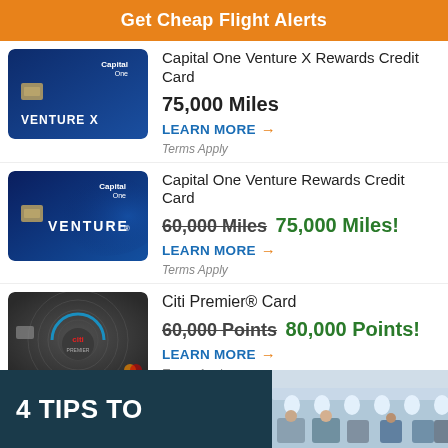Get Cheap Flight Alerts
[Figure (illustration): Capital One Venture X credit card (dark blue)]
Capital One Venture X Rewards Credit Card
75,000 Miles
LEARN MORE →
Terms Apply
[Figure (illustration): Capital One Venture credit card (dark blue)]
Capital One Venture Rewards Credit Card
60,000 Miles 75,000 Miles!
LEARN MORE →
Terms Apply
[Figure (illustration): Citi Premier card (dark gray circular design)]
Citi Premier® Card
60,000 Points 80,000 Points!
LEARN MORE →
Terms Apply
[Figure (illustration): Bottom banner: dark teal left side with '4 TIPS TO' text in white, right side shows airplane cabin interior photo]